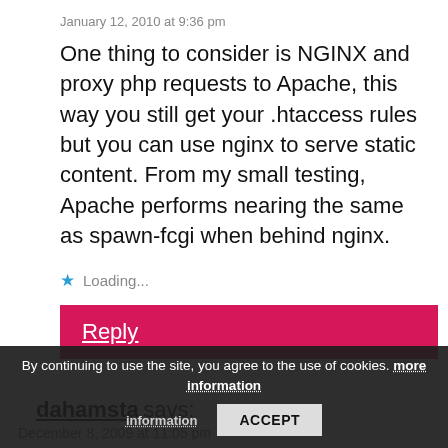January 12, 2010 at 9:36 pm
One thing to consider is NGINX and proxy php requests to Apache, this way you still get your .htaccess rules but you can use nginx to serve static content. From my small testing, Apache performs nearing the same as spawn-fcgi when behind nginx.
★ Loading...
Reply
dahamsta says:
December 8, 2009 at 11:05 pm
These guys are the kidd... you have to add something to your network, they have a plug in front so you can plug your router in and wonder
By continuing to use the site, you agree to the use of cookies. more information
ACCEPT